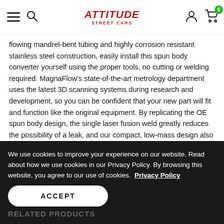ATTITUDE Street Cars — navigation header with hamburger menu, search icon, logo, user icon, and cart (0)
flowing mandrel-bent tubing and highly corrosion resistant stainless steel construction, easily install this spun body converter yourself using the proper tools, no cutting or welding required. MagnaFlow's state-of-the-art metrology department uses the latest 3D scanning systems during research and development, so you can be confident that your new part will fit and function like the original equipment. By replicating the OE spun body design, the single laser fusion weld greatly reduces the possibility of a leak, and our compact, low-mass design also allows for greater thermal efficiency.This direct-fit catalytic converter is designed to fit the 2005-2017 Chrysler 300, 2009-2017 Dodge Challenger, and additional vehicles. Hardware is included to eliminate the hassle of working with corroded factory parts. This replacement part is designed to meet or exceed Federal emissions
We use cookies to improve your experience on our website. Read about how we use cookies in our Privacy Policy. By browsing this website, you agree to our use of cookies.  Privacy Policy
ACCEPT
RELATED PRODUCTS